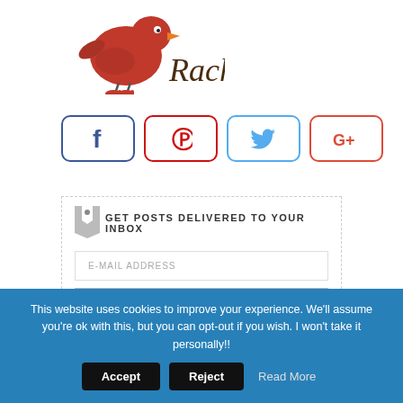[Figure (logo): Rachel blog logo with a cartoon bird wearing red heels and the name 'Rachel' in decorative serif font]
[Figure (infographic): Four social media share buttons: Facebook (f icon, blue border), Pinterest (p icon, red border), Twitter (bird icon, light blue border), Google+ (G+ icon, red/orange border)]
GET POSTS DELIVERED TO YOUR INBOX
E-MAIL ADDRESS
Go
This website uses cookies to improve your experience. We'll assume you're ok with this, but you can opt-out if you wish. I won't take it personally!!
Accept
Reject
Read More